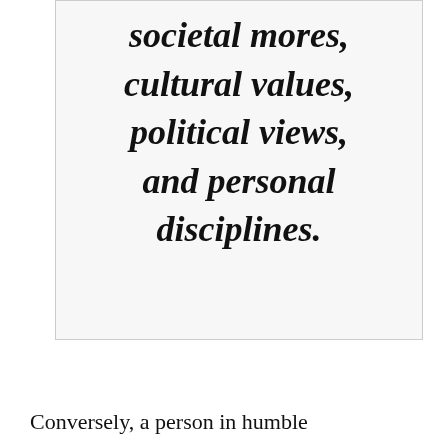societal mores, cultural values, political views, and personal disciplines.
Conversely, a person in humble